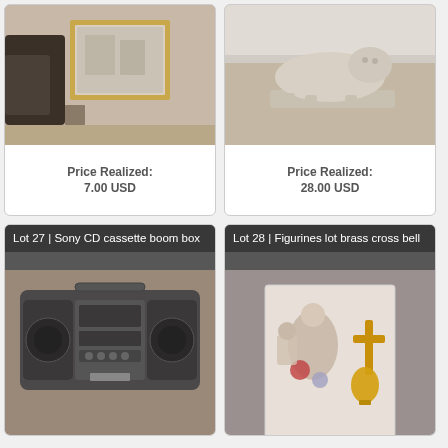[Figure (photo): Photo of a wall mirror with gold frame leaning against a couch]
Price Realized:
7.00 USD
[Figure (photo): Photo of a ceramic lion/panther figurine on a base, on carpet]
Price Realized:
28.00 USD
Lot 27 | Sony CD cassette boom box
[Figure (photo): Photo of a Sony CD cassette boom box on carpet]
Lot 28 | Figurines lot brass cross bell
[Figure (photo): Photo of a box with figurines, brass cross, and bell]